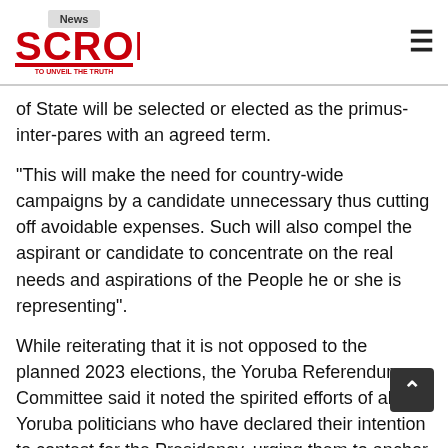News Scroll - To Unveil The Truth
of State will be selected or elected as the primus-inter-pares with an agreed term.
"This will make the need for country-wide campaigns by a candidate unnecessary thus cutting off avoidable expenses. Such will also compel the aspirant or candidate to concentrate on the real needs and aspirations of the People he or she is representing".
While reiterating that it is not opposed to the planned 2023 elections, the Yoruba Referendum Committee said it noted the spirited efforts of all Yoruba politicians who have declared their intention to contest for the Presidency, urging them to anchor their aspirations on not only good governance for Nigeria but also on ensuring that the Yoruba Nation and Nigeria as a whole are “rescued from the continuous cycles of underdevelopment."